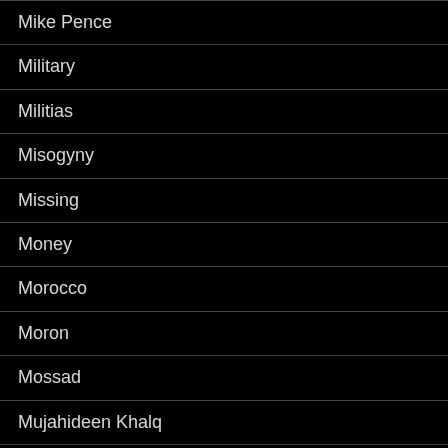Mike Pence
Military
Militias
Misogyny
Missing
Money
Morocco
Moron
Mossad
Mujahideen Khalq
Muqtada al-Sadr
Muslim Brotherhood
Muslim Wars